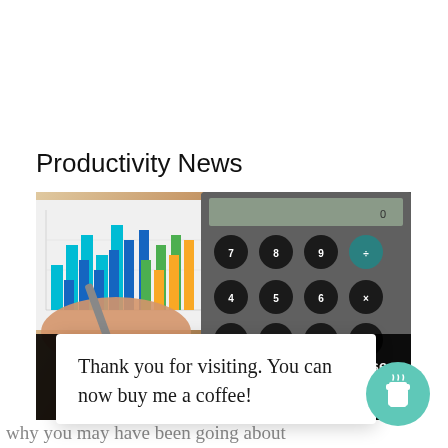Productivity News
[Figure (photo): A hand holding a pen over bar charts on paper, with a calculator visible in the background. Overlay text reads: Weekly Round-Up #166: Decluttering In Reverse, Get Creative And Night Rider!]
Thank you for visiting. You can now buy me a coffee!
why you may have been going about